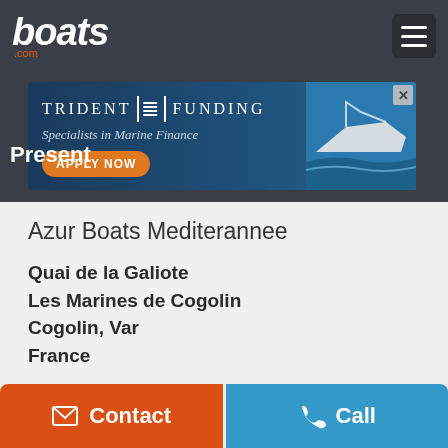boats.com
[Figure (screenshot): Trident Funding advertisement banner - Specialists in Marine Finance with Apply Now button]
Present
Azur Boats Mediterannee
Quai de la Galiote
Les Marines de Cogolin
Cogolin, Var
France
+33 (0)494 56 23 85
View Seller Inventory
Contact
Call